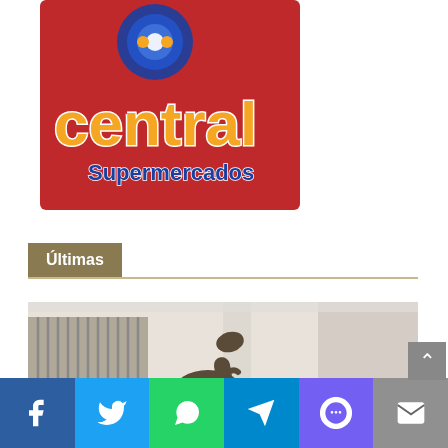[Figure (logo): Central Supermercados logo — red background with blue concentric circles, orange bubble letters spelling 'central' and blue text 'Supermercados' below]
Últimas
[Figure (photo): Photo of a dinosaur statue/sculpture (raptor-like) displayed indoors in what appears to be a shopping mall]
[Figure (infographic): Social media sharing bar with icons for Facebook, Twitter, WhatsApp, Telegram, Viber, and Email]